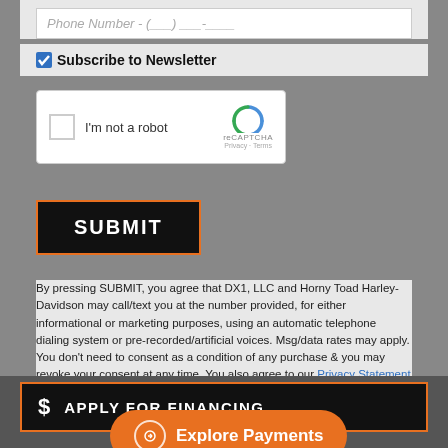Phone Number - (___) ___-____
Subscribe to Newsletter
[Figure (screenshot): reCAPTCHA widget with checkbox labeled 'I'm not a robot']
SUBMIT
By pressing SUBMIT, you agree that DX1, LLC and Horny Toad Harley-Davidson may call/text you at the number provided, for either informational or marketing purposes, using an automatic telephone dialing system or pre-recorded/artificial voices. Msg/data rates may apply. You don't need to consent as a condition of any purchase & you may revoke your consent at any time. You also agree to our Privacy Statement & Terms of Use.
$ APPLY FOR FINANCING
CALCULATE
Explore Payments